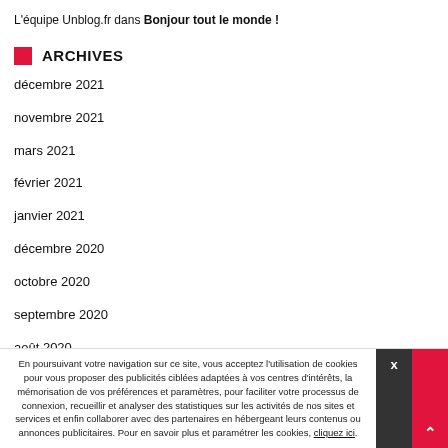L'équipe Unblog.fr dans Bonjour tout le monde !
ARCHIVES
décembre 2021
novembre 2021
mars 2021
février 2021
janvier 2021
décembre 2020
octobre 2020
septembre 2020
août 2020
En poursuivant votre navigation sur ce site, vous acceptez l'utilisation de cookies pour vous proposer des publicités ciblées adaptées à vos centres d'intérêts, la mémorisation de vos préférences et paramètres, pour faciliter votre processus de connexion, recueillir et analyser des statistiques sur les activités de nos sites et services et enfin collaborer avec des partenaires en hébergeant leurs contenus ou annonces publicitaires. Pour en savoir plus et paramétrer les cookies, cliquez ici.